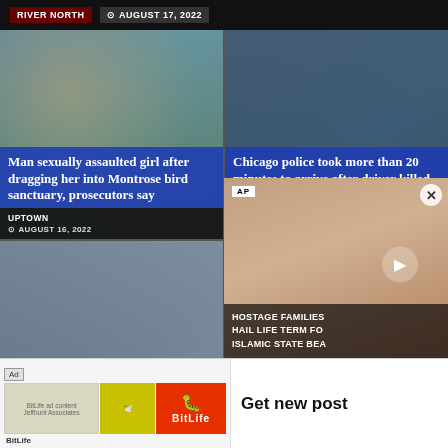RIVER NORTH | AUGUST 17, 2022
[Figure (photo): News card 1: Man sexually assaulted girl after dragging her into Montrose bird sanctuary, prosecutors say. UPTOWN | AUGUST 16, 2022]
[Figure (photo): News card 2: Chicago police took more than 20 minutes to arrive after driver killed 3, wounded 2 outside Jeffery Pub. CITYWIDE | AUGUST 16, 2022]
[Figure (photo): News card 3: Police find man, woman shot to death in Lincoln Square apartment. LINCOLN SQUARE | AUGUST 15, 2022]
[Figure (photo): News card 4: 3 men shot in Albany Park alley on Monday afternoon, police say. ALBANY PARK | AUGUST 15, 2022]
[Figure (screenshot): BitLife ad banner with logo and sperm icon]
Get new post
[Figure (photo): AP video: HOSTAGE FAMILIES HAIL LIFE TERM FOR ISLAMIC STATE BEA — with play button]